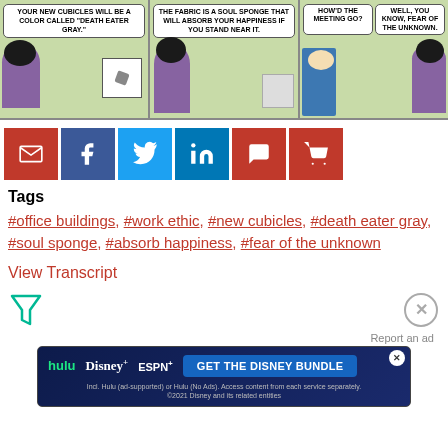[Figure (illustration): Dilbert comic strip with three panels. Panel 1: character says 'YOUR NEW CUBICLES WILL BE A COLOR CALLED "DEATH EATER GRAY."'. Panel 2: character says 'THE FABRIC IS A SOUL SPONGE THAT WILL ABSORB YOUR HAPPINESS IF YOU STAND NEAR IT.' Panel 3: two characters, one asks 'HOW'D THE MEETING GO?' other answers 'WELL, YOU KNOW, FEAR OF THE UNKNOWN.']
[Figure (infographic): Social sharing buttons row: email (red), Facebook (dark blue), Twitter (light blue), LinkedIn (blue), comment (red), cart (red)]
Tags
#office buildings, #work ethic, #new cubicles, #death eater gray, #soul sponge, #absorb happiness, #fear of the unknown
View Transcript
[Figure (illustration): Filter/funnel icon on left, close/X circle button on right]
Report an ad
[Figure (screenshot): Advertisement banner for Disney Bundle featuring Hulu, Disney+, and ESPN+ logos with 'GET THE DISNEY BUNDLE' call to action button and disclaimer text.]